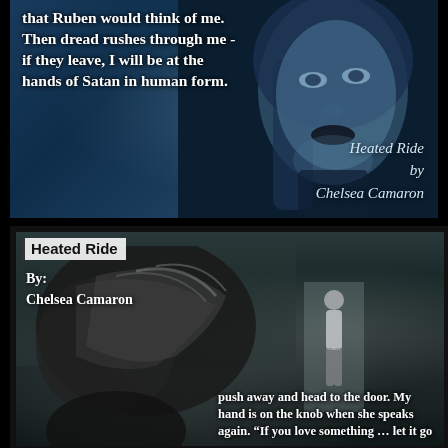[Figure (illustration): Book promotional image: close-up of a woman's face with blonde hair against a dark blue background, with white bold text overlaid on left side and italic byline at bottom right]
that Ruben would think of me. Then dread rushes through me - if they leave, I will be at the hands of Satan in human form.
Heated Ride
by
Chelsea Camaron
[Figure (illustration): Second book promotional image: dark toned photo with a woman with windswept hair in foreground and a man walking away in background, title text box at top left, book quote overlaid at bottom right]
Heated Ride
By:
Chelsea Camaron
push away and head to the door. My hand is on the knob when she speaks again. "If you love something ... let it go